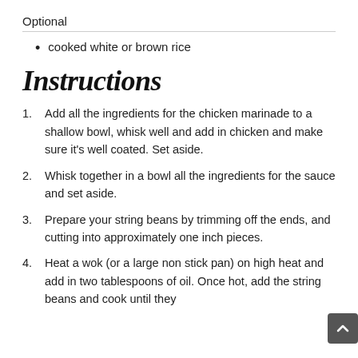Optional
cooked white or brown rice
Instructions
1. Add all the ingredients for the chicken marinade to a shallow bowl, whisk well and add in chicken and make sure it's well coated. Set aside.
2. Whisk together in a bowl all the ingredients for the sauce and set aside.
3. Prepare your string beans by trimming off the ends, and cutting into approximately one inch pieces.
4. Heat a wok (or a large non stick pan) on high heat and add in two tablespoons of oil. Once hot, add the string beans and cook until they are just al dente. Then add 1/4 cup of water and...